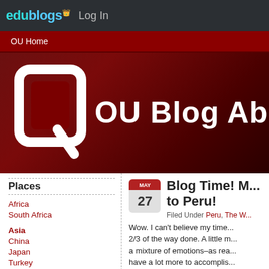edublogs Log In
OU Home
[Figure (screenshot): OU Blog Abroad banner with University of Oklahoma logo on dark red background]
Places
Africa
South Africa
Asia
China
Japan
Turkey
Blog Time! M... to Peru!
Filed Under Peru, The W...
Wow. I can't believe my time... 2/3 of the way done. A little m... a mixture of emotions–as rea... have a lot more to accomplis... seen, and I would love for my...